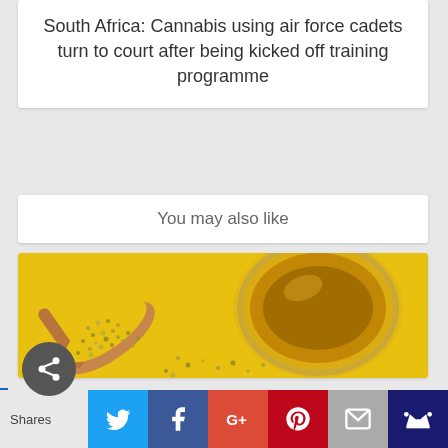South Africa: Cannabis using air force cadets turn to court after being kicked off training programme
You may also like
[Figure (photo): A wooden spoon with hemp seeds and a glass bowl of hemp oil on a yellow cloth background]
Shares